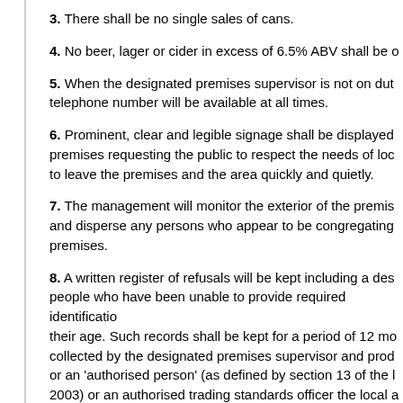3. There shall be no single sales of cans.
4. No beer, lager or cider in excess of 6.5% ABV shall be o...
5. When the designated premises supervisor is not on duty, telephone number will be available at all times.
6. Prominent, clear and legible signage shall be displayed premises requesting the public to respect the needs of loc to leave the premises and the area quickly and quietly.
7. The management will monitor the exterior of the premis and disperse any persons who appear to be congregating premises.
8. A written register of refusals will be kept including a des people who have been unable to provide required identificatio their age. Such records shall be kept for a period of 12 mo collected by the designated premises supervisor and prod or an 'authorised person' (as defined by section 13 of the L 2003) or an authorised trading standards officer the local a on demand.
9. All staff engaged in the sale of alcohol to be trained in re...